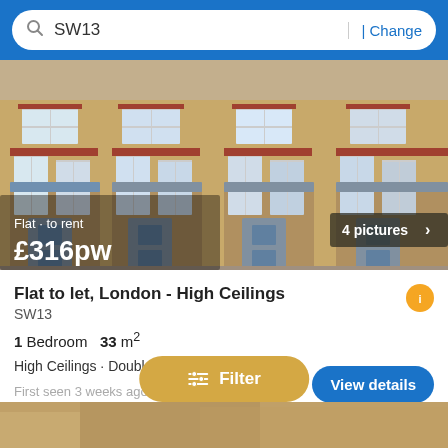SW13  | Change
[Figure (photo): Photograph of a Victorian terraced housing row with yellow-brown brick facade, white sash windows with red brick lintels, bay windows at ground level, and grey front doors. Overlay text reads: Flat · to rent £316pw. Badge in bottom right reads: 4 pictures >]
Flat to let, London - High Ceilings
SW13
1 Bedroom  33 m²
High Ceilings · Double Bedroom · Kitchen
First seen 3 weeks ago on Zoopla
View details
Filter